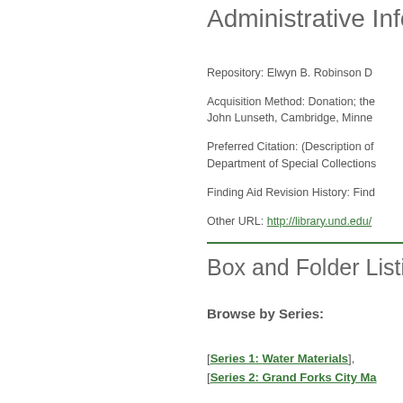Administrative Inform
Repository: Elwyn B. Robinson D
Acquisition Method: Donation; the
John Lunseth, Cambridge, Minne
Preferred Citation: (Description of
Department of Special Collections
Finding Aid Revision History: Find
Other URL: http://library.und.edu/
Box and Folder Listin
Browse by Series:
[Series 1: Water Materials],
[Series 2: Grand Forks City Ma